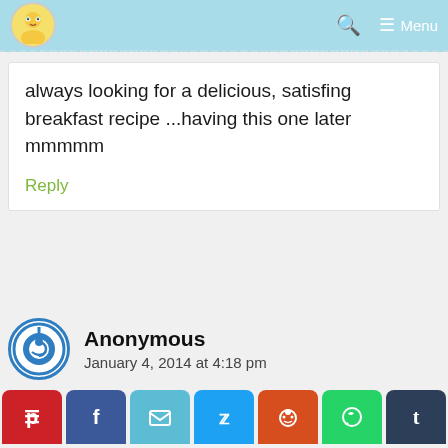Menu
always looking for a delicious, satisfing breakfast recipe ...having this one later mmmmm
Reply
Anonymous
January 4, 2014 at 4:18 pm
hard to read comments, in the
[Figure (infographic): Social sharing bar with Pinterest, Facebook, Email, Twitter, Reddit, WhatsApp, Tumblr buttons]